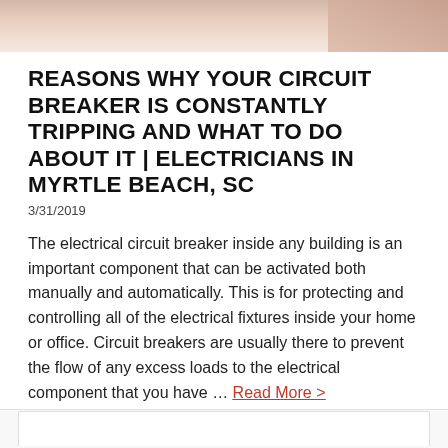[Figure (photo): Partial photo strip at top of page showing a person's hands or skin tones, cropped]
REASONS WHY YOUR CIRCUIT BREAKER IS CONSTANTLY TRIPPING AND WHAT TO DO ABOUT IT | ELECTRICIANS IN MYRTLE BEACH, SC
3/31/2019
The electrical circuit breaker inside any building is an important component that can be activated both manually and automatically. This is for protecting and controlling all of the electrical fixtures inside your home or office. Circuit breakers are usually there to prevent the flow of any excess loads to the electrical component that you have … Read More >